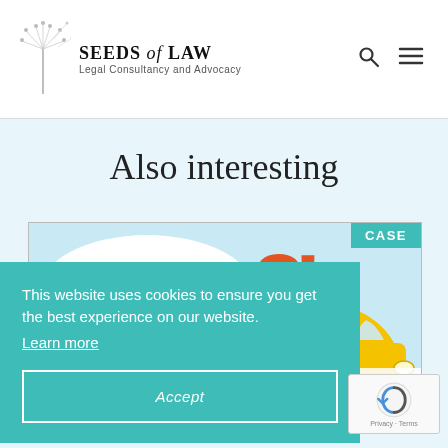SEEDS of LAW — Legal Consultancy and Advocacy
Also interesting
[Figure (illustration): Comic-style illustration showing a speech bubble reading 'SIR, WE ARE TAKING BACK THIS VEHICLE BECAUSE THE LOAN HAS NOT BEEN FULLY PAID BY THE FIRST OWNER!' with a large '?!' graphic and a yellow car. A 'CASE' badge appears in the top right corner.]
This website uses cookies to ensure you get the best experience on our website. Learn more
Accept
Returning a vehicle sold before it has